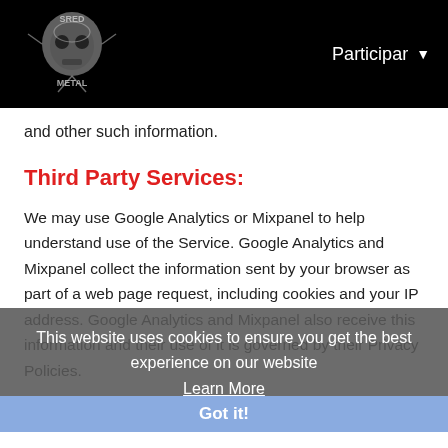SRED METAL — Participar
and other such information.
Third Party Services:
We may use Google Analytics or Mixpanel to help understand use of the Service. Google Analytics and Mixpanel collect the information sent by your browser as part of a web page request, including cookies and your IP address. Google Analytics and Mixpanel also receive this information and their use of it is governed by their Privacy Policies.
This website uses cookies to ensure you get the best experience on our website
Learn More
Got it!
How We Share Your Information